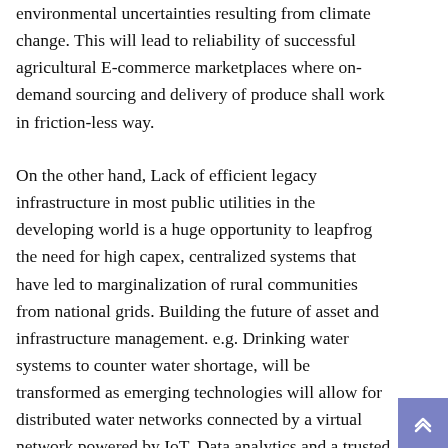environmental uncertainties resulting from climate change. This will lead to reliability of successful agricultural E-commerce marketplaces where on-demand sourcing and delivery of produce shall work in friction-less way.
On the other hand, Lack of efficient legacy infrastructure in most public utilities in the developing world is a huge opportunity to leapfrog the need for high capex, centralized systems that have led to marginalization of rural communities from national grids. Building the future of asset and infrastructure management. e.g. Drinking water systems to counter water shortage, will be transformed as emerging technologies will allow for distributed water networks connected by a virtual network powered by IoT, Data analytics and a trusted block chain to enforce water quality & safety standards.